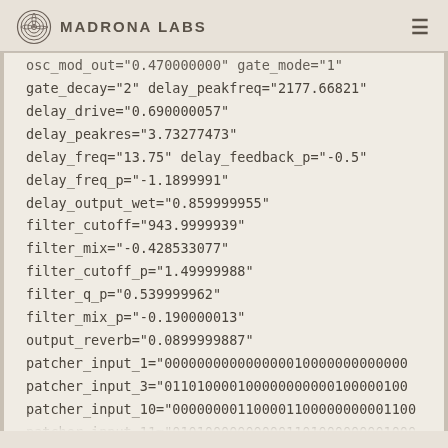Madrona Labs
osc_mod_out="0.470000000" gate_mode="1"
gate_decay="2" delay_peakfreq="2177.66821"
delay_drive="0.690000057"
delay_peakres="3.73277473"
delay_freq="13.75" delay_feedback_p="-0.5"
delay_freq_p="-1.1899991"
delay_output_wet="0.859999955"
filter_cutoff="943.9999939"
filter_mix="-0.428533077"
filter_cutoff_p="1.49999988"
filter_q_p="0.539999962"
filter_mix_p="-0.190000013"
output_reverb="0.0899999887"
patcher_input_1="000000000000000010000000000000
patcher_input_3="011010000100000000000100000100
patcher_input_10="000000001100001100000000001100
patcher_input_11="010100000000001101000000001000